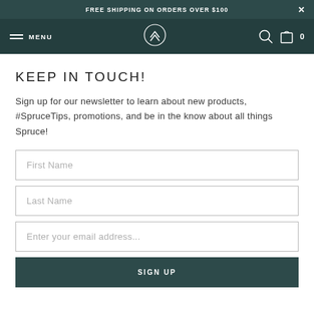FREE SHIPPING ON ORDERS OVER $100
KEEP IN TOUCH!
Sign up for our newsletter to learn about new products, #SpruceTips, promotions, and be in the know about all things Spruce!
First Name
Last Name
Enter your email address...
SIGN UP